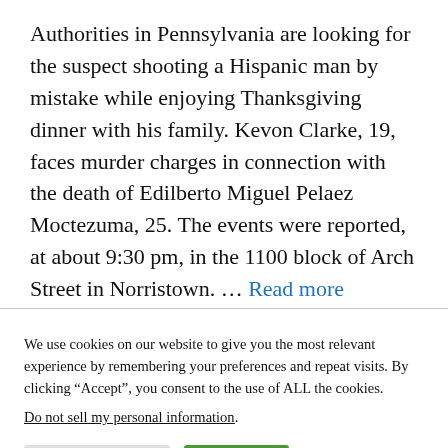Authorities in Pennsylvania are looking for the suspect shooting a Hispanic man by mistake while enjoying Thanksgiving dinner with his family. Kevon Clarke, 19, faces murder charges in connection with the death of Edilberto Miguel Pelaez Moctezuma, 25. The events were reported, at about 9:30 pm, in the 1100 block of Arch Street in Norristown. … Read more
We use cookies on our website to give you the most relevant experience by remembering your preferences and repeat visits. By clicking “Accept”, you consent to the use of ALL the cookies. Do not sell my personal information.